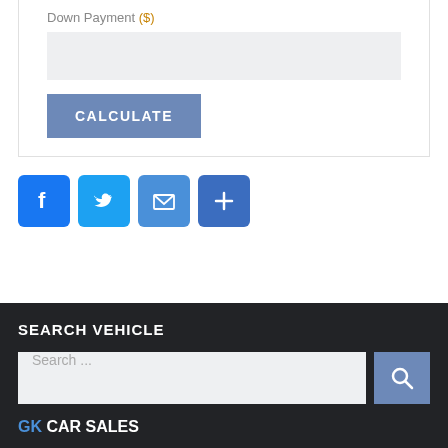Down Payment ($)
CALCULATE
[Figure (screenshot): Social media share buttons: Facebook (f), Twitter (bird), Email (envelope), More (+)]
SEARCH VEHICLE
Search ...
GK CAR SALES